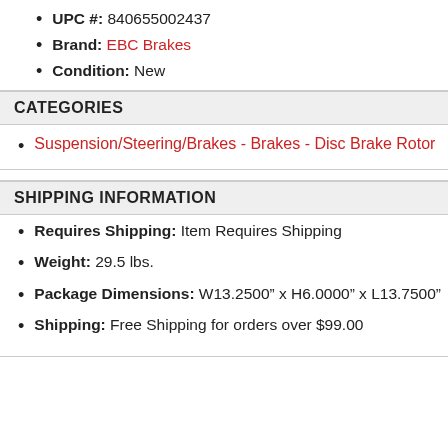UPC #: 840655002437
Brand: EBC Brakes
Condition: New
CATEGORIES
Suspension/Steering/Brakes - Brakes - Disc Brake Rotor
SHIPPING INFORMATION
Requires Shipping: Item Requires Shipping
Weight: 29.5 lbs.
Package Dimensions: W13.2500" x H6.0000" x L13.7500"
Shipping: Free Shipping for orders over $99.00